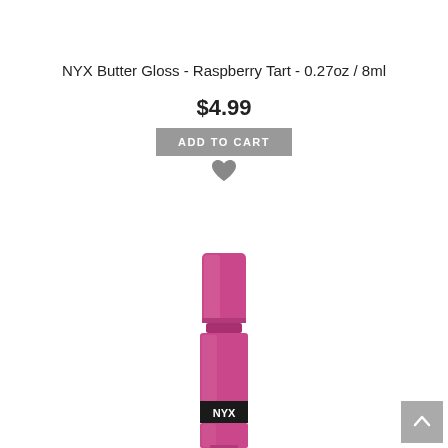NYX Butter Gloss - Raspberry Tart - 0.27oz / 8ml
$4.99
ADD TO CART
[Figure (photo): NYX Butter Gloss lipstick product in pink/raspberry packaging with cap on, showing NYX branding on the tube]